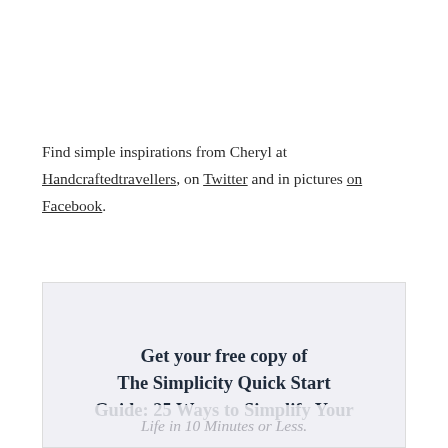Find simple inspirations from Cheryl at Handcraftedtravellers, on Twitter and in pictures on Facebook.
Get your free copy of The Simplicity Quick Start Guide: 25 Ways to Simplify Your Life in 10 Minutes or Less.